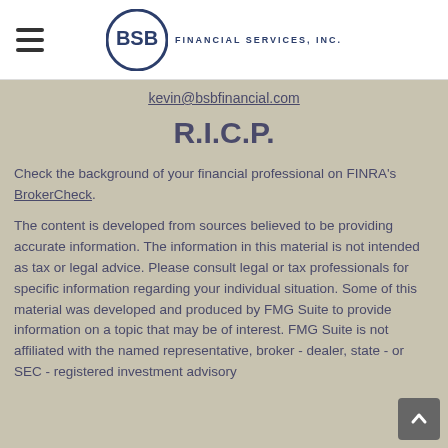BSB Financial Services, Inc.
kevin@bsbfinancial.com
R.I.C.P.
Check the background of your financial professional on FINRA's BrokerCheck.
The content is developed from sources believed to be providing accurate information. The information in this material is not intended as tax or legal advice. Please consult legal or tax professionals for specific information regarding your individual situation. Some of this material was developed and produced by FMG Suite to provide information on a topic that may be of interest. FMG Suite is not affiliated with the named representative, broker - dealer, state - or SEC - registered investment advisory firm. The opinions expressed and material provided are for general information, and should not be considered a solicitation for the purchase or sale of any security.